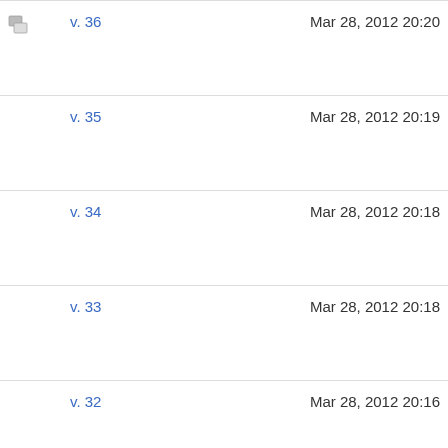v. 36  Mar 28, 2012 20:20
v. 35  Mar 28, 2012 20:19
v. 34  Mar 28, 2012 20:18
v. 33  Mar 28, 2012 20:18
v. 32  Mar 28, 2012 20:16